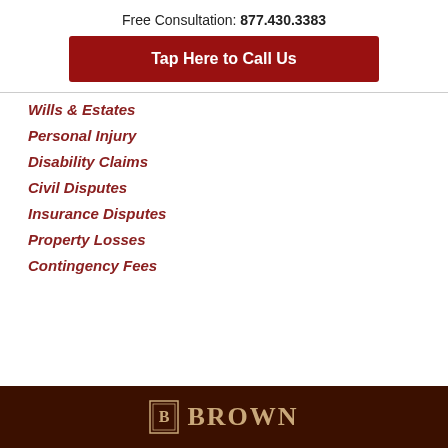Free Consultation: 877.430.3383
Tap Here to Call Us
Wills & Estates
Personal Injury
Disability Claims
Civil Disputes
Insurance Disputes
Property Losses
Contingency Fees
BROWN